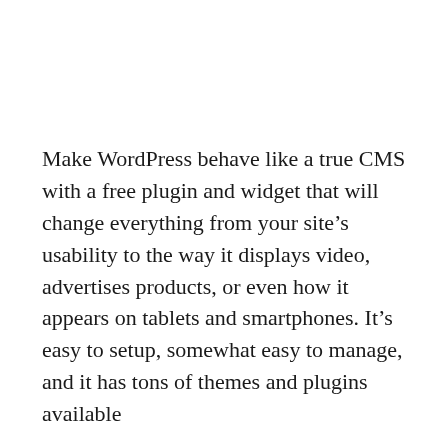Make WordPress behave like a true CMS with a free plugin and widget that will change everything from your site’s usability to the way it displays video, advertises products, or even how it appears on tablets and smartphones. It’s easy to setup, somewhat easy to manage, and it has tons of themes and plugins available